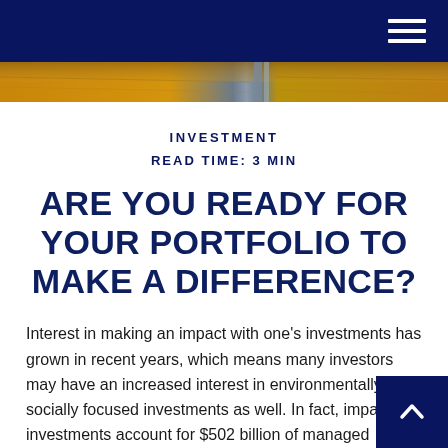Navigation header with hamburger menu
[Figure (photo): Aerial landscape photo showing fields in warm golden tones with a road or path dividing the scene]
INVESTMENT
READ TIME: 3 MIN
ARE YOU READY FOR YOUR PORTFOLIO TO MAKE A DIFFERENCE?
Interest in making an impact with one’s investments has grown in recent years, which means many investors may have an increased interest in environmentally or socially focused investments as well. In fact, impact investments account for $502 billion of managed investments worldwide, with 58% held in North America. Curious to